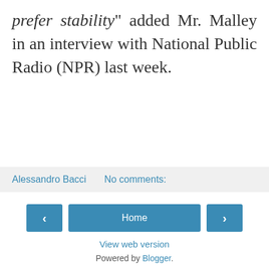prefer stability" added Mr. Malley in an interview with National Public Radio (NPR) last week.
Alessandro Bacci    No comments:
Home | View web version | Powered by Blogger.